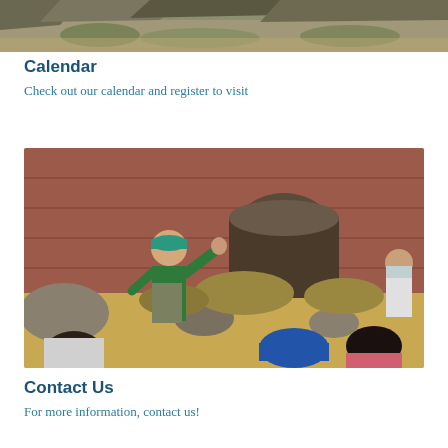[Figure (photo): Top portion of a landscape photo showing rocky hillside with vegetation, partially cropped at top of page]
Calendar
Check out our calendar and register to visit
[Figure (photo): Outdoor photo of a park ranger or guide in a green shirt and teal cap gesturing with hand raised, speaking to a small group of visitors wearing masks, standing near a rustic red building with old industrial equipment and dry brush in background]
Contact Us
For more information, contact us!